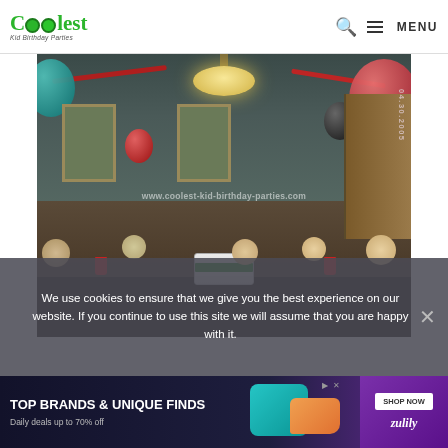Coolest Kid Birthday Parties — MENU
[Figure (photo): Indoor birthday party scene with children seated around a table with a cake. Balloons (teal, red, black) and red streamers decorate the room. A chandelier hangs overhead. Date stamp reads 04.30.2005. Watermark: www.coolest-kid-birthday-parties.com]
We use cookies to ensure that we give you the best experience on our website. If you continue to use this site we will assume that you are happy with it.
[Figure (infographic): Advertisement banner: TOP BRANDS & UNIQUE FINDS — Daily deals up to 70% off — SHOP NOW — Zulily brand logo. Shows a teal handbag and orange shoe product images on a dark navy/purple background.]